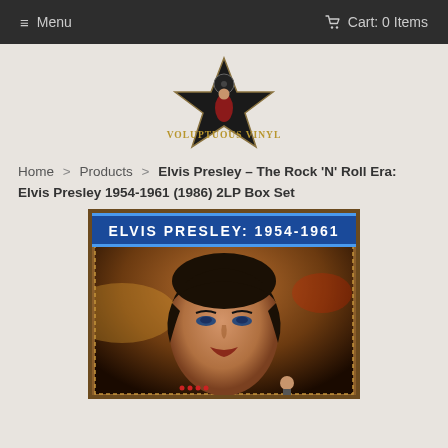≡ Menu   🛒 Cart: 0 Items
[Figure (logo): Voluptuous Vinyl logo: a black star with a woman in red dress seated on it, text 'VOLUPTUOUS VINYL' in gold decorative lettering below]
Home > Products > Elvis Presley – The Rock 'N' Roll Era: Elvis Presley 1954-1961 (1986) 2LP Box Set
[Figure (photo): Album cover for Elvis Presley: 1954-1961. Shows Elvis Presley's face in dramatic lighting with a blue banner at top reading 'ELVIS PRESLEY: 1954-1961'. Background has ornate brown/gold border. Elvis is shown in close-up with dark hair and blue eyes.]